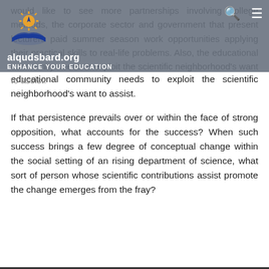alqudsbard.org — ENHANCE YOUR EDUCATION
would like to see more partnerships involving college methods, the corporate sector and government that present lecturers paid summer season work opportunities applying their practical skills to real-life problems. Also, the educational community needs to exploit the scientific neighborhood's want to assist.
If that persistence prevails over or within the face of strong opposition, what accounts for the success? When such success brings a few degree of conceptual change within the social setting of an rising department of science, what sort of person whose scientific contributions assist promote the change emerges from the fray?